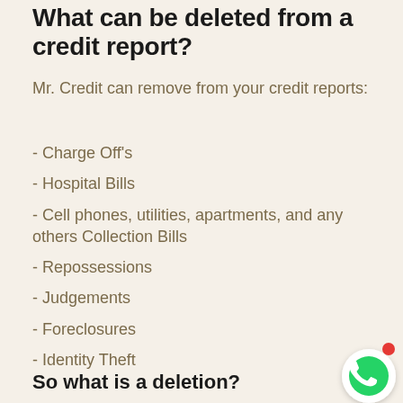What can be deleted from a credit report?
Mr. Credit can remove from your credit reports:
- Charge Off’s
- Hospital Bills
- Cell phones, utilities, apartments, and any others Collection Bills
- Repossessions
- Judgements
- Foreclosures
- Identity Theft
So what is a deletion?
[Figure (other): WhatsApp icon button with red notification dot]